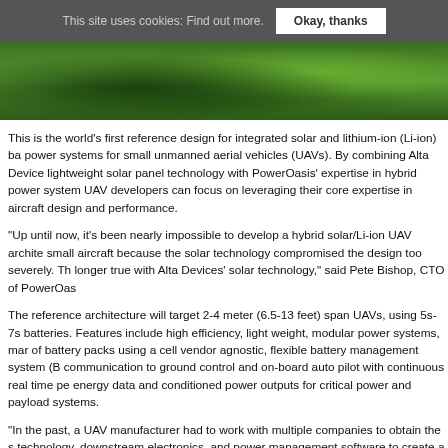This site uses cookies: Find out more. [Okay, thanks]
[Figure (photo): Aerial view of green forest/vegetation landscape, used as hero banner image]
This is the world's first reference design for integrated solar and lithium-ion (Li-ion) ba power systems for small unmanned aerial vehicles (UAVs). By combining Alta Device lightweight solar panel technology with PowerOasis' expertise in hybrid power system UAV developers can focus on leveraging their core expertise in aircraft design and performance.
“Up until now, it’s been nearly impossible to develop a hybrid solar/Li-ion UAV archite small aircraft because the solar technology compromised the design too severely. Th longer true with Alta Devices’ solar technology,” said Pete Bishop, CTO of PowerOas
The reference architecture will target 2-4 meter (6.5-13 feet) span UAVs, using 5s-7s batteries. Features include high efficiency, light weight, modular power systems, mar of battery packs using a cell vendor agnostic, flexible battery management system (B communication to ground control and on-board auto pilot with continuous real time pe energy data and conditioned power outputs for critical power and payload systems.
“In the past, a UAV manufacturer had to work with multiple companies to obtain the s technology, downstream electronics, and power management software to create a so hybrid powered system. Then, they had to design the system themselves,” said t